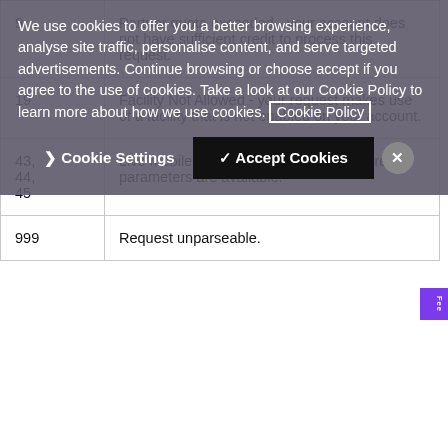We use cookies to offer you a better browsing experience, analyse site traffic, personalise content, and serve targeted advertisements. Continue browsing or choose accept if you agree to the use of cookies. Take a look at our Cookie Policy to learn more about how we use cookies. Cookie Policy
❯ Cookie Settings   ✓ Accept Cookies   ✕
| Code | Description |
| --- | --- |
| 9 | Partner quota exceeded - your account does not have sufficient credit to process this request. |
| 19 | Facility Not Allowed - your request makes use of a facility that is not enabled on your account. |
| 43, 44, 45 | Live mobile lookup not returned. Not all return parameters are available. |
| 999 | Request unparseable. |